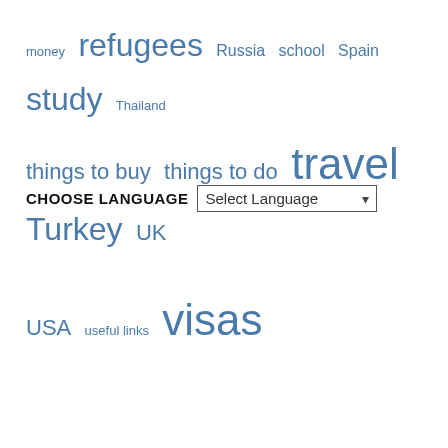money refugees Russia school Spain study Thailand things to buy things to do travel Turkey UK USA useful links visas
CHOOSE LANGUAGE Select Language